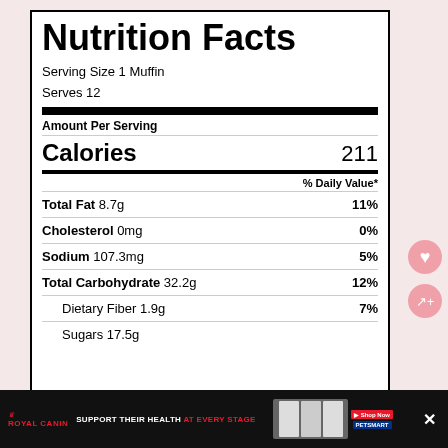Nutrition Facts
Serving Size 1 Muffin
Serves 12
| Nutrient | Amount | % Daily Value |
| --- | --- | --- |
| Calories | 211 |  |
| Total Fat | 8.7g | 11% |
| Cholesterol | 0mg | 0% |
| Sodium | 107.3mg | 5% |
| Total Carbohydrate | 32.2g | 12% |
| Dietary Fiber | 1.9g | 7% |
| Sugars | 17.5g |  |